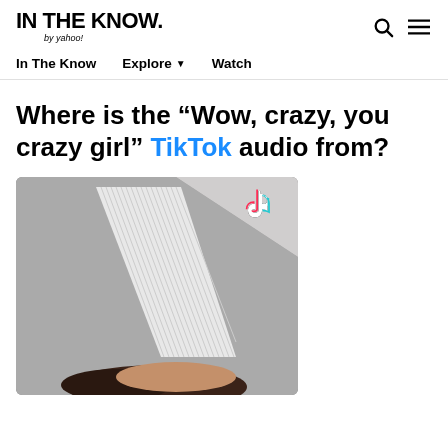IN THE KNOW. by yahoo!
In The Know  Explore ▼  Watch
Where is the “Wow, crazy, you crazy girl” TikTok audio from?
[Figure (photo): TikTok video screenshot showing a person upside down with a white ribbed pillar/column visible and a TikTok logo watermark in the top right corner]